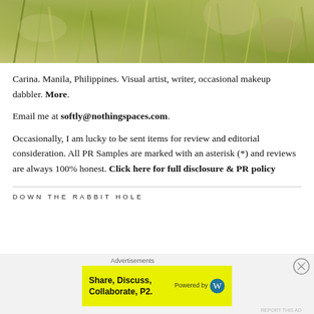[Figure (photo): Close-up photo of grass and foliage with blurred green and yellow tones]
Carina. Manila, Philippines. Visual artist, writer, occasional makeup dabbler. More.
Email me at softly@nothingspaces.com.
Occasionally, I am lucky to be sent items for review and editorial consideration. All PR Samples are marked with an asterisk (*) and reviews are always 100% honest. Click here for full disclosure & PR policy
DOWN THE RABBIT HOLE
[Figure (screenshot): Advertisement banner: Share, Discuss, Collaborate, P2. Powered by WordPress logo]